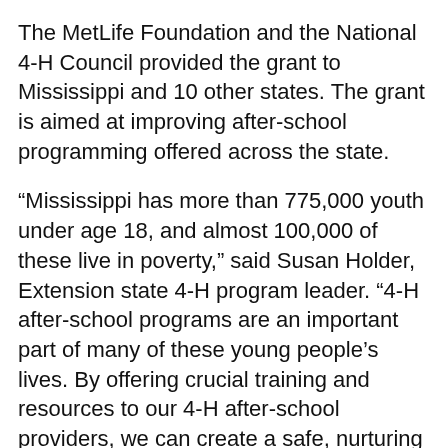The MetLife Foundation and the National 4-H Council provided the grant to Mississippi and 10 other states. The grant is aimed at improving after-school programming offered across the state.
“Mississippi has more than 775,000 youth under age 18, and almost 100,000 of these live in poverty,” said Susan Holder, Extension state 4-H program leader. “4-H after-school programs are an important part of many of these young people’s lives. By offering crucial training and resources to our 4-H after-school providers, we can create a safe, nurturing environment for young people to become confident, capable leaders.”
The training will allow after-school providers to increase the number of youth involved in high-quality after-school programs and make civic engagement part of their daily lives. Other goals are to give young people more opportunities to develop leadership skills and to help them engage with and enrich their communities.